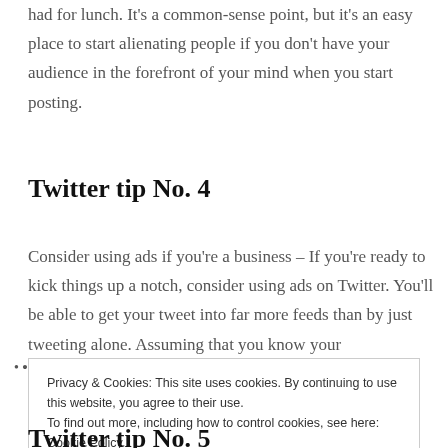had for lunch. It's a common-sense point, but it's an easy place to start alienating people if you don't have your audience in the forefront of your mind when you start posting.
Twitter tip No. 4
Consider using ads if you're a business – If you're ready to kick things up a notch, consider using ads on Twitter. You'll be able to get your tweet into far more feeds than by just tweeting alone. Assuming that you know your
Privacy & Cookies: This site uses cookies. By continuing to use this website, you agree to their use.
To find out more, including how to control cookies, see here: Cookie Policy
Close and accept
Twitter tip No. 5